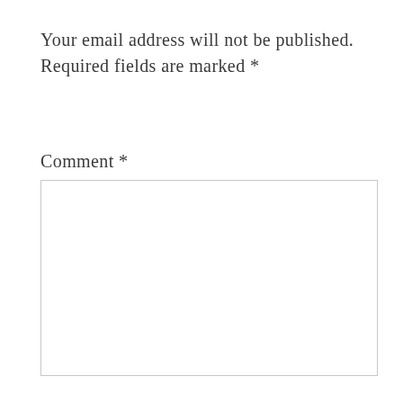Your email address will not be published. Required fields are marked *
Comment *